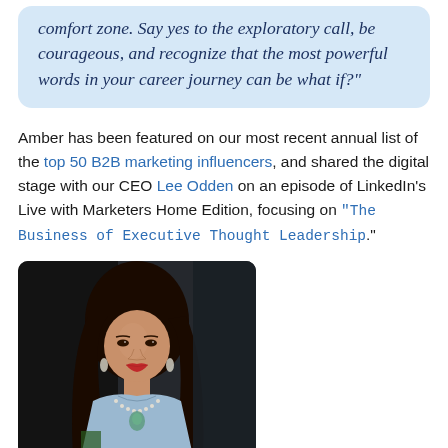comfort zone. Say yes to the exploratory call, be courageous, and recognize that the most powerful words in your career journey can be what if?"
Amber has been featured on our most recent annual list of the top 50 B2B marketing influencers, and shared the digital stage with our CEO Lee Odden on an episode of LinkedIn's Live with Marketers Home Edition, focusing on "The Business of Executive Thought Leadership."
[Figure (photo): Portrait photo of a woman with long dark hair wearing a light blue top and layered necklaces, photographed against a dark background]